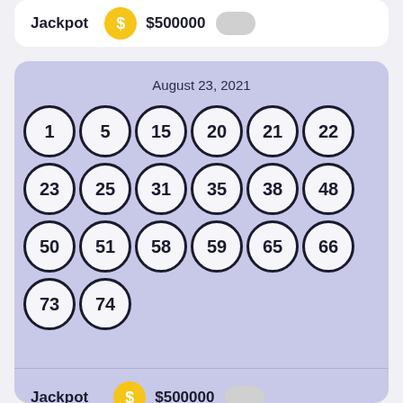Jackpot  $500000
[Figure (infographic): Lottery draw card for August 23, 2021 with 20 numbered balls arranged in rows: 1, 5, 15, 20, 21, 22, 23, 25, 31, 35, 38, 48, 50, 51, 58, 59, 65, 66, 73, 74. Jackpot prize shown as $500000 with a dollar-sign coin icon.]
Jackpot  $500000